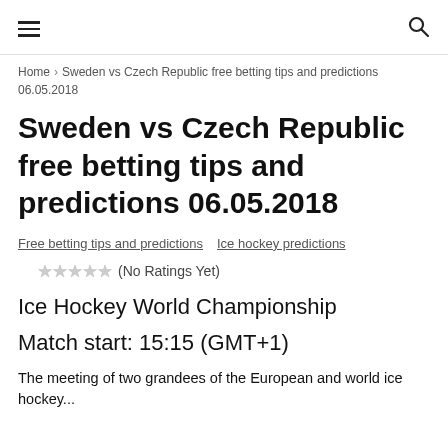☰  🔍
Home › Sweden vs Czech Republic free betting tips and predictions 06.05.2018
Sweden vs Czech Republic free betting tips and predictions 06.05.2018
Free betting tips and predictions   Ice hockey predictions
☆☆☆☆☆ (No Ratings Yet)
Ice Hockey World Championship
Match start: 15:15 (GMT+1)
The meeting of two grandees of the European and world ice hockey...